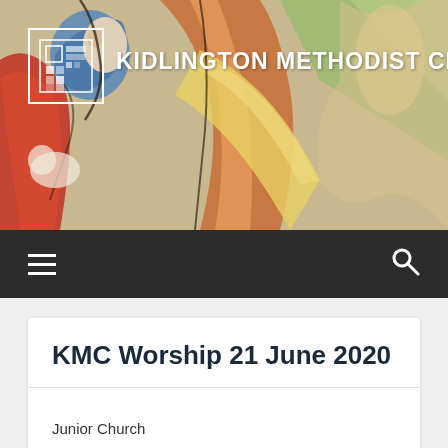[Figure (illustration): Colorful painted artwork showing biblical figures with bold outlines, used as banner background. Figures in orange, red, blue, and yellow tones on a decorative background.]
KIDLINGTON METHODIST CHURCH
[Figure (logo): Square white-bordered logo box for Kidlington Methodist Church with geometric cross/grid pattern inside]
KMC Worship 21 June 2020
Junior Church
Roots on the Web resources
Activity Sheet